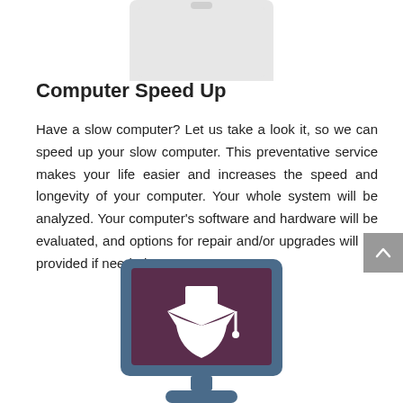[Figure (illustration): Partial faded gray monitor/computer icon at top of page, partially cropped]
Computer Speed Up
Have a slow computer? Let us take a look it, so we can speed up your slow computer. This preventative service makes your life easier and increases the speed and longevity of your computer. Your whole system will be analyzed. Your computer's software and hardware will be evaluated, and options for repair and/or upgrades will be provided if needed.
[Figure (illustration): Blue-framed monitor icon with dark purple/maroon screen showing a white graduation cap icon, partially visible at bottom of page]